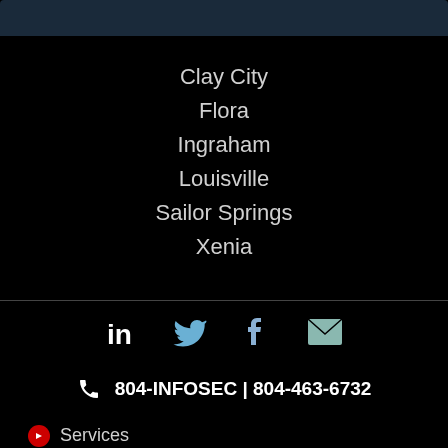Clay City
Flora
Ingraham
Louisville
Sailor Springs
Xenia
[Figure (infographic): Social media icons: LinkedIn, Twitter, Facebook, Email]
804-INFOSEC | 804-463-6732
Services
Resources
Company
Contact
Service Area